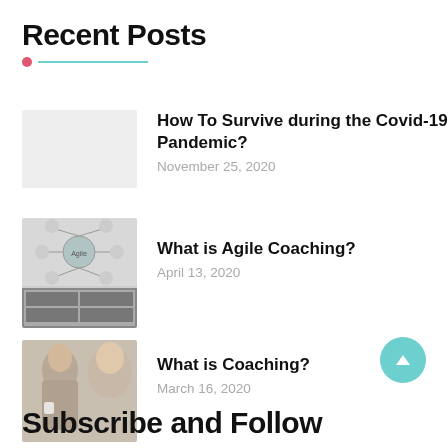Recent Posts
How To Survive during the Covid-19 Pandemic?
November 25, 2020
What is Agile Coaching?
April 13, 2020
What is Coaching?
March 16, 2020
Subscribe and Follow